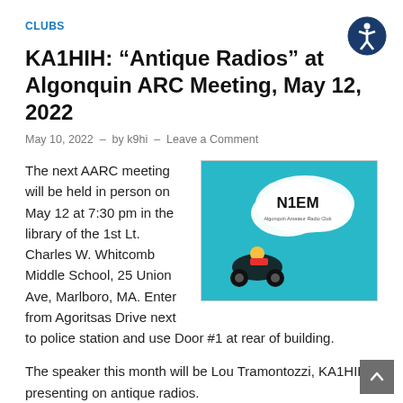[Figure (logo): Accessibility icon — white stick figure in circle on dark blue background]
CLUBS
KA1HIH: “Antique Radios” at Algonquin ARC Meeting, May 12, 2022
May 10, 2022  -  by k9hi  -  Leave a Comment
[Figure (illustration): Cartoon illustration on teal/cyan background: a motorcyclist with smoke cloud above reading 'N1EM' and below 'Algonquin Amateur Radio Club']
The next AARC meeting will be held in person on May 12 at 7:30 pm in the library of the 1st Lt. Charles W. Whitcomb Middle School, 25 Union Ave, Marlboro, MA. Enter from Agoritsas Drive next to police station and use Door #1 at rear of building.
The speaker this month will be Lou Tramontozzi, KA1HIH, presenting on antique radios.